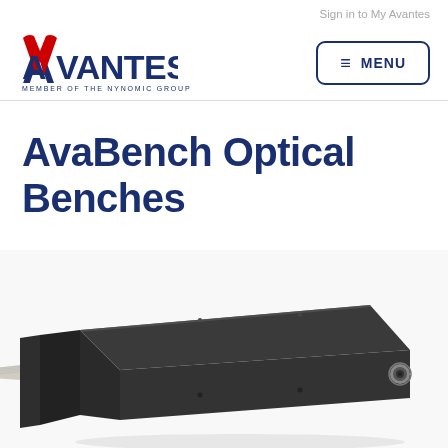Sign in to My Avantes
[Figure (logo): Avantes logo with red chevron A mark, blue text AVANTES, tagline MEMBER OF THE NYNOMIC GROUP]
≡  MENU
AvaBench Optical Benches
[Figure (photo): Dark grey/black rectangular optical bench housing with ribbon cable connector on left side and circular SMA fiber connector on right side, photographed at an angle on white background]